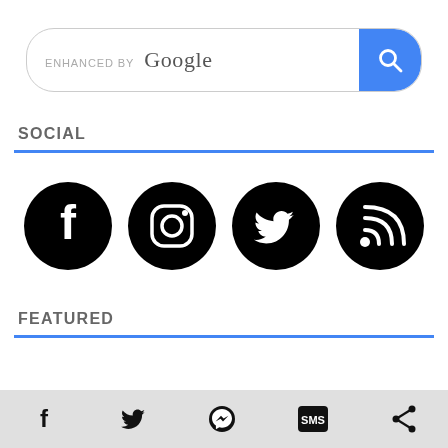[Figure (screenshot): Google search bar with 'ENHANCED BY Google' text and blue search button with magnifying glass icon]
SOCIAL
[Figure (infographic): Four circular black social media icons: Facebook (f), Instagram (camera), Twitter (bird), RSS feed]
FEATURED
realme to debut the realme Pad X and realme Watch 3
[Figure (infographic): Bottom share bar with Facebook, Twitter, Messenger, SMS, and Share icons on a light gray background]